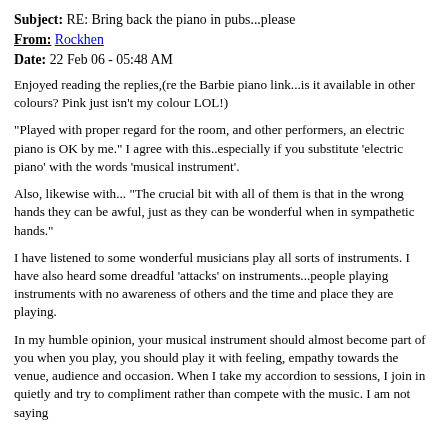Subject: RE: Bring back the piano in pubs...please
From: Rockhen
Date: 22 Feb 06 - 05:48 AM
Enjoyed reading the replies,(re the Barbie piano link...is it available in other colours? Pink just isn't my colour LOL!)
"Played with proper regard for the room, and other performers, an electric piano is OK by me." I agree with this..especially if you substitute 'electric piano' with the words 'musical instrument'.
Also, likewise with... "The crucial bit with all of them is that in the wrong hands they can be awful, just as they can be wonderful when in sympathetic hands."
I have listened to some wonderful musicians play all sorts of instruments. I have also heard some dreadful 'attacks' on instruments...people playing instruments with no awareness of others and the time and place they are playing.
In my humble opinion, your musical instrument should almost become part of you when you play, you should play it with feeling, empathy towards the venue, audience and occasion. When I take my accordion to sessions, I join in quietly and try to compliment rather than compete with the music. I am not saying